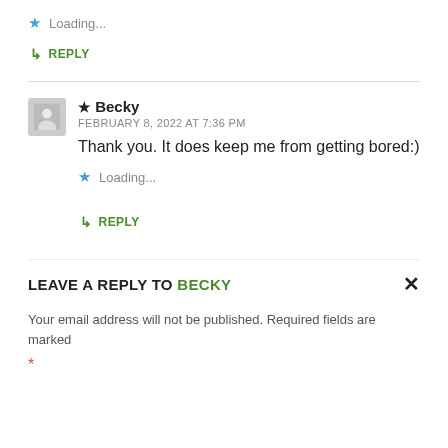★ Loading...
↳ REPLY
★ Becky
FEBRUARY 8, 2022 AT 7:36 PM
Thank you. It does keep me from getting bored:)
★ Loading...
↳ REPLY
LEAVE A REPLY TO BECKY ×
Your email address will not be published. Required fields are marked *